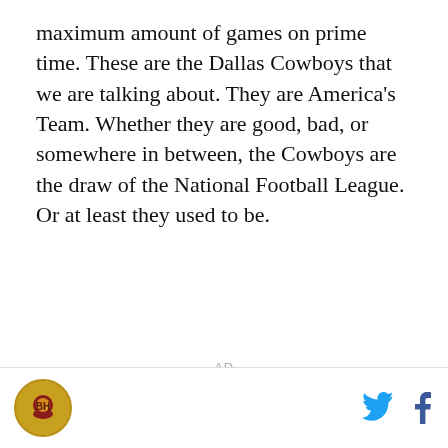maximum amount of games on prime time. These are the Dallas Cowboys that we are talking about. They are America's Team. Whether they are good, bad, or somewhere in between, the Cowboys are the draw of the National Football League. Or at least they used to be.
AD
[logo] [twitter icon] [facebook icon]